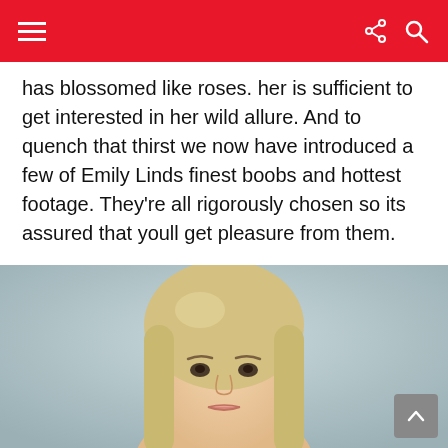Navigation header with hamburger menu, share icon, and search icon
has blossomed like roses. her is sufficient to get interested in her wild allure. And to quench that thirst we now have introduced a few of Emily Linds finest boobs and hottest footage. They're all rigorously chosen so its assured that youll get pleasure from them.
[Figure (photo): Portrait photo of a young blonde woman with light eyes and subtle makeup against a light teal/grey background]